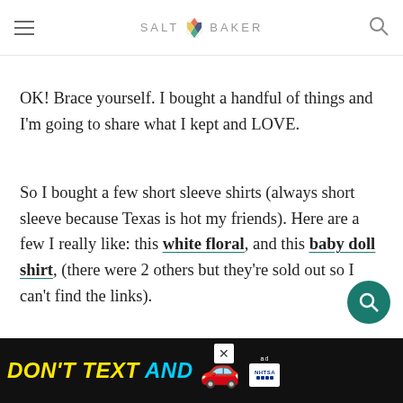SALT & BAKER
OK! Brace yourself. I bought a handful of things and I'm going to share what I kept and LOVE.
So I bought a few short sleeve shirts (always short sleeve because Texas is hot my friends). Here are a few I really like: this white floral, and this baby doll shirt, (there were 2 others but they're sold out so I can't find the links).
Super lightweight bermuda shorts. I've never sh... shorts ...e hot ...
[Figure (screenshot): Advertisement banner: DON'T TEXT AND [car emoji] with ad badge and NHTSA logo]